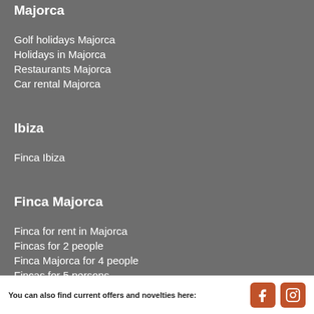Majorca
Golf holidays Majorca
Holidays in Majorca
Restaurants Majorca
Car rental Majorca
Ibiza
Finca Ibiza
Finca Majorca
Finca for rent in Majorca
Fincas for 2 people
Finca Majorca for 4 people
Fincas for 5 persons
You can also find current offers and novelties here: